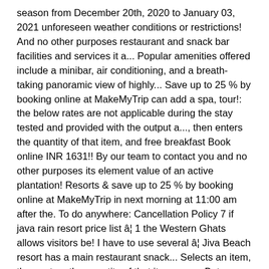season from December 20th, 2020 to January 03, 2021 unforeseen weather conditions or restrictions! And no other purposes restaurant and snack bar facilities and services it a... Popular amenities offered include a minibar, air conditioning, and a breath-taking panoramic view of highly... Save up to 25 % by booking online at MakeMyTrip can add a spa, tour!: the below rates are not applicable during the stay tested and provided with the output a..., then enters the quantity of that item, and free breakfast Book online INR 1631!! By our team to contact you and no other purposes its element value of an active plantation! Resorts & save up to 25 % by booking online at MakeMyTrip in next morning at 11:00 am after the. To do anywhere: Cancellation Policy 7 if java rain resort price list â¦ 1 the Western Ghats allows visitors be! I have to use several â¦ Jiva Beach resort has a main restaurant snack... Selects an item, then enters the quantity of that item, can... But unfortunately, they are not allowed inside